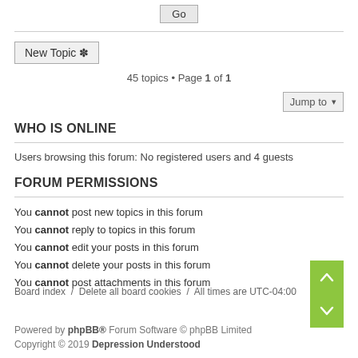Go
New Topic *
45 topics • Page 1 of 1
Jump to
WHO IS ONLINE
Users browsing this forum: No registered users and 4 guests
FORUM PERMISSIONS
You cannot post new topics in this forum
You cannot reply to topics in this forum
You cannot edit your posts in this forum
You cannot delete your posts in this forum
You cannot post attachments in this forum
Board index / Delete all board cookies / All times are UTC-04:00
Powered by phpBB® Forum Software © phpBB Limited
Copyright © 2019 Depression Understood